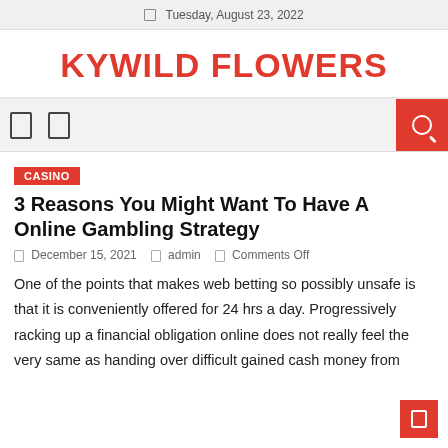Tuesday, August 23, 2022
KYWILD FLOWERS
CASINO
3 Reasons You Might Want To Have A Online Gambling Strategy
December 15, 2021   admin   Comments Off
One of the points that makes web betting so possibly unsafe is that it is conveniently offered for 24 hrs a day. Progressively racking up a financial obligation online does not really feel the very same as handing over difficult gained cash money from